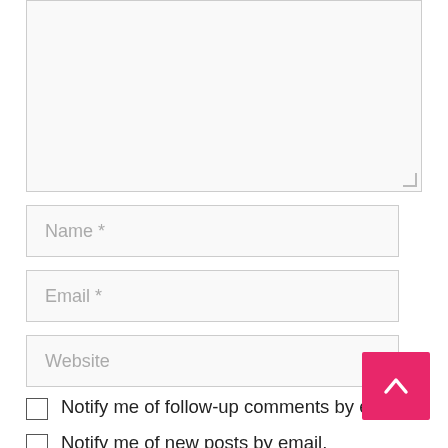[Figure (screenshot): Comment form textarea box (empty, resizable)]
Name *
Email *
Website
Notify me of follow-up comments by email.
Notify me of new posts by email.